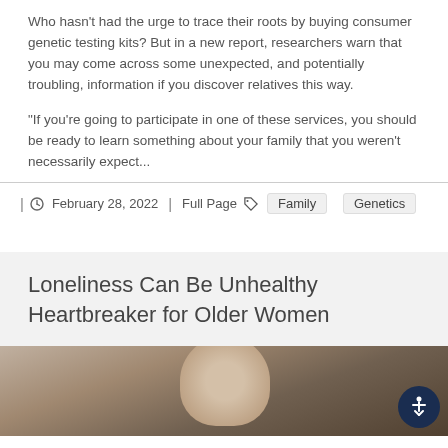Who hasn't had the urge to trace their roots by buying consumer genetic testing kits? But in a new report, researchers warn that you may come across some unexpected, and potentially troubling, information if you discover relatives this way.
"If you're going to participate in one of these services, you should be ready to learn something about your family that you weren't necessarily expect..."
| February 28, 2022  |  Full Page  Family  Genetics
Loneliness Can Be Unhealthy Heartbreaker for Older Women
[Figure (photo): Bottom strip showing a partial photo of an older woman, with an accessibility button overlay in the bottom right corner.]